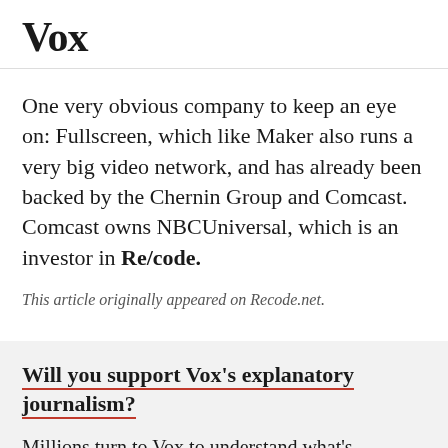Vox
One very obvious company to keep an eye on: Fullscreen, which like Maker also runs a very big video network, and has already been backed by the Chernin Group and Comcast. Comcast owns NBCUniversal, which is an investor in Re/code.
This article originally appeared on Recode.net.
Will you support Vox's explanatory journalism?
Millions turn to Vox to understand what's